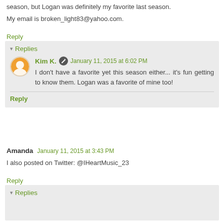season, but Logan was definitely my favorite last season.
My email is broken_light83@yahoo.com.
Reply
▾ Replies
Kim K.  January 11, 2015 at 6:02 PM
I don't have a favorite yet this season either... it's fun getting to know them. Logan was a favorite of mine too!
Reply
Amanda  January 11, 2015 at 3:43 PM
I also posted on Twitter: @IHeartMusic_23
Reply
▾ Replies